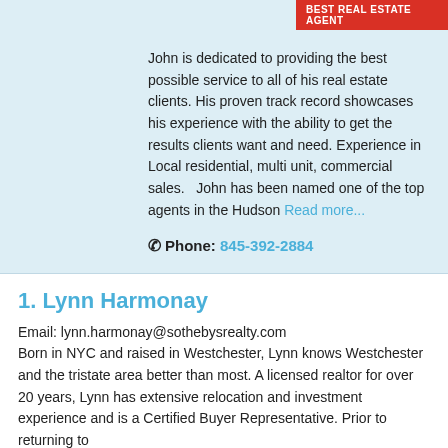BEST REAL ESTATE AGENT
John is dedicated to providing the best possible service to all of his real estate clients. His proven track record showcases his experience with the ability to get the results clients want and need. Experience in Local residential, multi unit, commercial sales.   John has been named one of the top agents in the Hudson Read more...
Phone: 845-392-2884
1. Lynn Harmonay
Email: lynn.harmonay@sothebysrealty.com Born in NYC and raised in Westchester, Lynn knows Westchester and the tristate area better than most. A licensed realtor for over 20 years, Lynn has extensive relocation and investment experience and is a Certified Buyer Representative. Prior to returning to